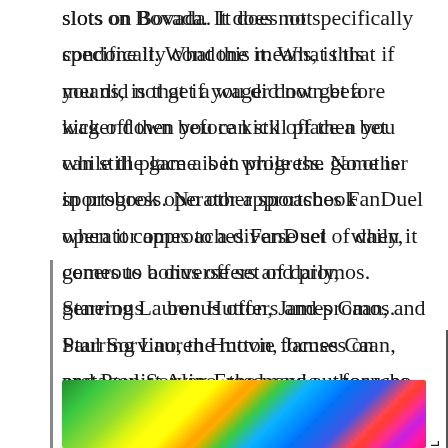slots on Bovada. It does not specifically condone it. What this means, is that if you did not get a wager down before kick off then you can still place a bet while the game is in progress. No other sportsbook operator approaches FanDuel when it comes to a diverse set of daily, generous bonus offers and promos. Starring Lauren Hutton, James Caan, and Paul Sorvino, the movie focuses on protagonist Alex Freed, and author who graduated Harvard and developed a serious gambling addiction. How does this affect online casino legalization.
[Figure (photo): Colorful close-up photo showing green, yellow, orange, blue and other bright colors — appears to be a festive or nature scene.]